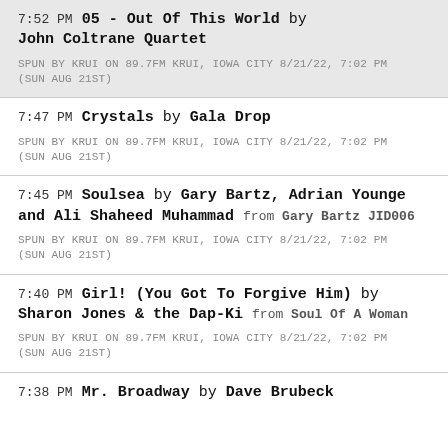7:52 PM 05 - Out Of This World by John Coltrane Quartet
SPUN BY KRUI ON 89.7FM KRUI, IOWA CITY 8/21/22, 7:02 PM (SUN AUG 21ST)
7:47 PM Crystals by Gala Drop
SPUN BY KRUI ON 89.7FM KRUI, IOWA CITY 8/21/22, 7:02 PM (SUN AUG 21ST)
7:45 PM Soulsea by Gary Bartz, Adrian Younge and Ali Shaheed Muhammad from Gary Bartz JID006
SPUN BY KRUI ON 89.7FM KRUI, IOWA CITY 8/21/22, 7:02 PM (SUN AUG 21ST)
7:40 PM Girl! (You Got To Forgive Him) by Sharon Jones & the Dap-Ki from Soul Of A Woman
SPUN BY KRUI ON 89.7FM KRUI, IOWA CITY 8/21/22, 7:02 PM (SUN AUG 21ST)
7:38 PM Mr. Broadway by Dave Brubeck